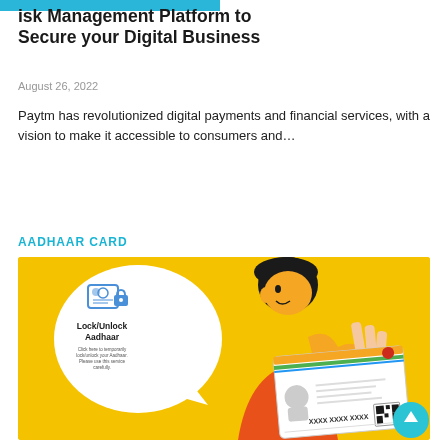Risk Management Platform to Secure your Digital Business
August 26, 2022
Paytm has revolutionized digital payments and financial services, with a vision to make it accessible to consumers and...
AADHAAR CARD
[Figure (illustration): Illustration on yellow background showing a person holding an Aadhaar card with a speech bubble showing Lock/Unlock Aadhaar option. The speech bubble reads: Lock/Unlock Aadhaar - Click here to temporarily lock/unlock your Aadhaar. Please use this service carefully.]